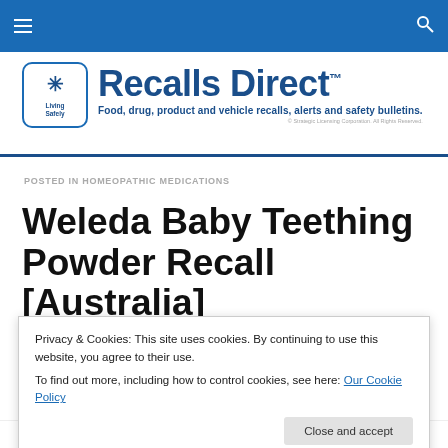Navigation bar with hamburger menu and search icon
[Figure (logo): Recalls Direct logo — Living are Safely icon with star/snowflake, brand name 'Recalls Direct™', tagline 'Food, drug, product and vehicle recalls, alerts and safety bulletins.' © Strategic Licensing Corporation. All Rights Reserved.]
POSTED IN HOMEOPATHIC MEDICATIONS
Weleda Baby Teething Powder Recall [Australia]
Privacy & Cookies: This site uses cookies. By continuing to use this website, you agree to their use.
To find out more, including how to control cookies, see here: Our Cookie Policy
Close and accept